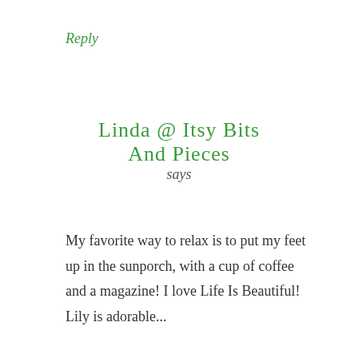Reply
Linda @ Itsy Bits And Pieces says
My favorite way to relax is to put my feet up in the sunporch, with a cup of coffee and a magazine! I love Life Is Beautiful! Lily is adorable...